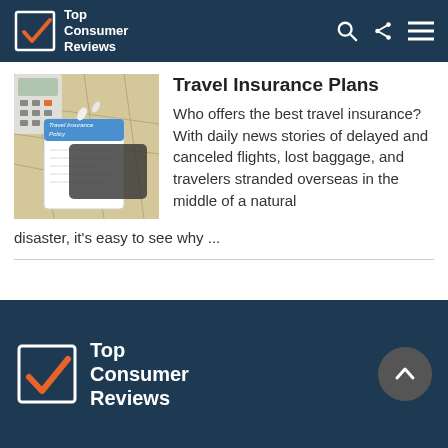Top Consumer Reviews
[Figure (photo): Photo of a travel insurance policy document on a map with a calculator and miniature airplane figures]
Travel Insurance Plans
Who offers the best travel insurance? With daily news stories of delayed and canceled flights, lost baggage, and travelers stranded overseas in the middle of a natural disaster, it's easy to see why ...
Top Consumer Reviews